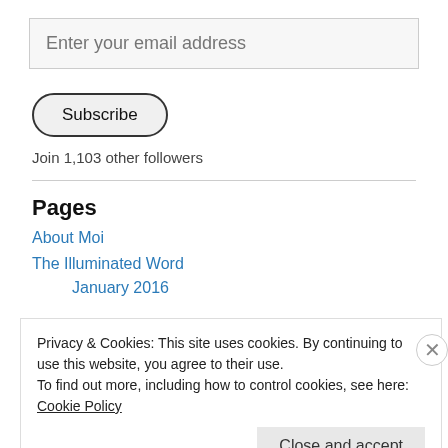Enter your email address
Subscribe
Join 1,103 other followers
Pages
About Moi
The Illuminated Word
January 2016
Privacy & Cookies: This site uses cookies. By continuing to use this website, you agree to their use.
To find out more, including how to control cookies, see here: Cookie Policy
Close and accept